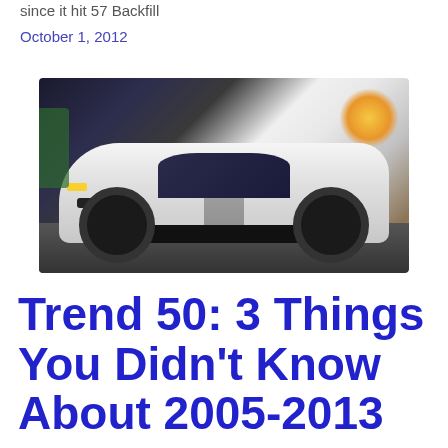since it hit 57 Backfill
October 1, 2012
[Figure (photo): White Corvette convertible sports car with silver racing stripes, photographed from the front-left angle while in motion, with a sunset/golden hour background.]
Trend 50: 3 Things You Didn't Know About 2005-2013